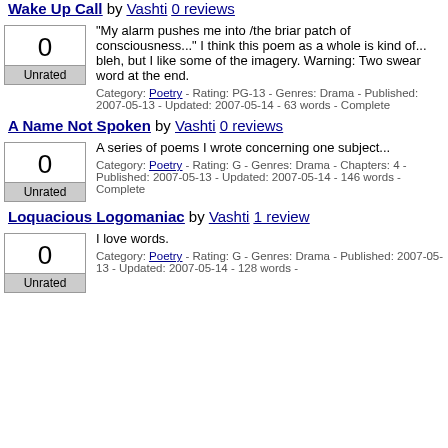Wake Up Call by Vashti 0 reviews
"My alarm pushes me into /the briar patch of consciousness..." I think this poem as a whole is kind of... bleh, but I like some of the imagery. Warning: Two swear word at the end.
Category: Poetry - Rating: PG-13 - Genres: Drama - Published: 2007-05-13 - Updated: 2007-05-14 - 63 words - Complete
A Name Not Spoken by Vashti 0 reviews
A series of poems I wrote concerning one subject...
Category: Poetry - Rating: G - Genres: Drama - Chapters: 4 - Published: 2007-05-13 - Updated: 2007-05-14 - 146 words - Complete
Loquacious Logomaniac by Vashti 1 review
I love words.
Category: Poetry - Rating: G - Genres: Drama - Published: 2007-05-13 - Updated: 2007-05-14 - 128 words -